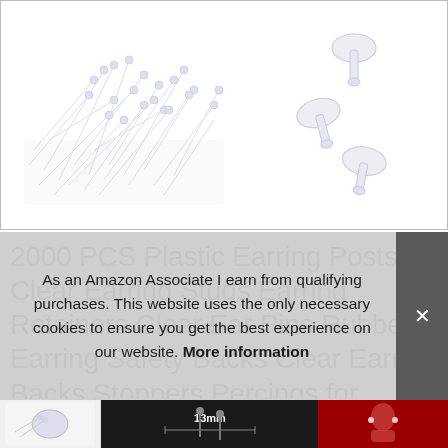[Figure (photo): Product image showing a pile of clear plastic earring posts on the left side and a few individual clear earring backs/stoppers on the right side, white background, light gray border]
2000 PCS Plastic Earring Posts, Clear Earring Studs Earring Retainers Clear Ear Pins Rubber Earring Safety Backs Clear Earring Backs Stoppers Percings for School,DIY Jewelry Making Earrings Findings
As an Amazon Associate I earn from qualifying purchases. This website uses the only necessary cookies to ensure you get the best experience on our website. More information